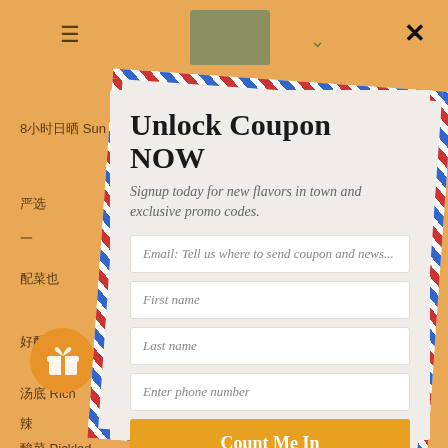[Figure (screenshot): Background of a restaurant/food website with orange background, hamburger menu icon, dropdown arrow, close X button, and Chinese text labels for menu items like 8小时日晒, 一图, 严选, 配菜也, 好配料看, 汤底 Rich, 辣, 酸菜 Pickled, and a gift icon circle.]
Unlock Coupon NOW
Signup today for new flavors in town and exclusive promo codes.
Email: Tell us where to send coupon and news...
First name
Last name
Enter phone number
Count Me In